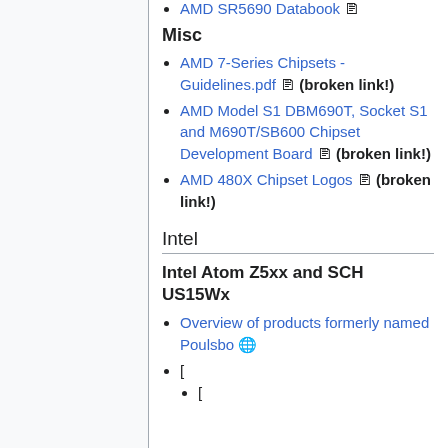AMD SR5690 Databook [pdf icon]
Misc
AMD 7-Series Chipsets - Guidelines.pdf [pdf icon] (broken link!)
AMD Model S1 DBM690T, Socket S1 and M690T/SB600 Chipset Development Board [pdf icon] (broken link!)
AMD 480X Chipset Logos [pdf icon] (broken link!)
Intel
Intel Atom Z5xx and SCH US15Wx
Overview of products formerly named Poulsbo [ext icon]
[
[